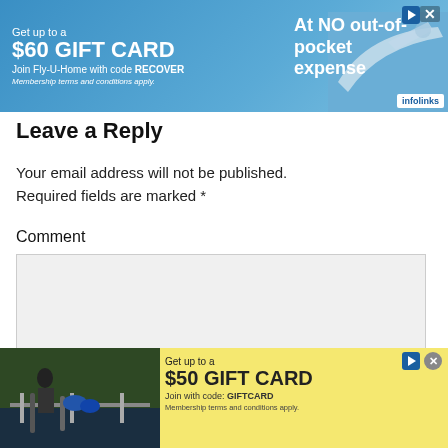[Figure (screenshot): Top advertisement banner for Fly-U-Home gift card offer showing blue background with airplane image, text: Get up to a $60 GIFT CARD, Join Fly-U-Home with code RECOVER, At NO out-of-pocket expense, infolinks label]
Leave a Reply
Your email address will not be published. Required fields are marked *
Comment
[Figure (screenshot): Comment textarea input box with light gray background and resize handle]
ne *
[Figure (screenshot): Bottom advertisement banner with yellow background, motorcycle/skiing image on left, $50 GIFT CARD offer, infolinks label, close button]